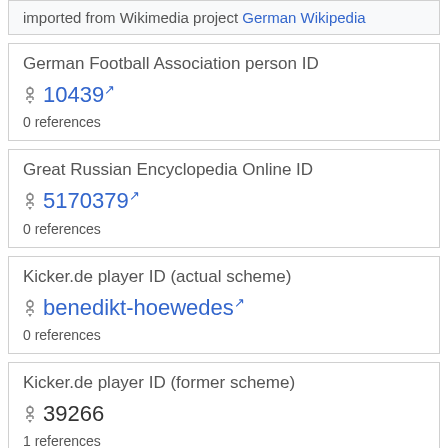imported from Wikimedia project German Wikipedia
German Football Association person ID
10439
0 references
Great Russian Encyclopedia Online ID
5170379
0 references
Kicker.de player ID (actual scheme)
benedikt-hoewedes
0 references
Kicker.de player ID (former scheme)
39266
1 references